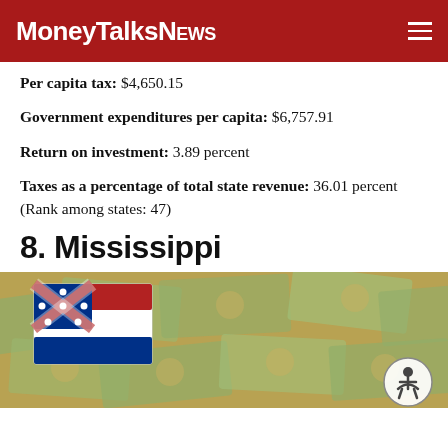MoneyTalksNews
Per capita tax: $4,650.15
Government expenditures per capita: $6,757.91
Return on investment: 3.89 percent
Taxes as a percentage of total state revenue: 36.01 percent (Rank among states: 47)
8. Mississippi
[Figure (photo): Mississippi state flag prop placed on a background of US dollar bills, with an accessibility icon button in the lower right corner.]